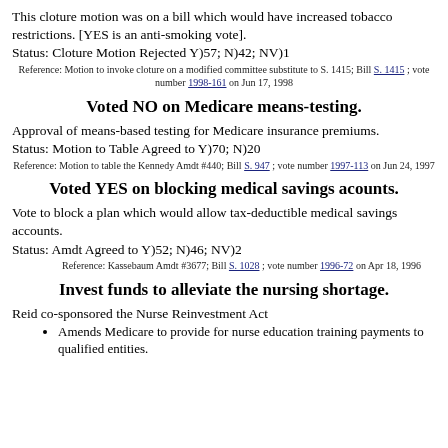This cloture motion was on a bill which would have increased tobacco restrictions. [YES is an anti-smoking vote].
Status: Cloture Motion Rejected Y)57; N)42; NV)1
Reference: Motion to invoke cloture on a modified committee substitute to S. 1415; Bill S. 1415 ; vote number 1998-161 on Jun 17, 1998
Voted NO on Medicare means-testing.
Approval of means-based testing for Medicare insurance premiums.
Status: Motion to Table Agreed to Y)70; N)20
Reference: Motion to table the Kennedy Amdt #440; Bill S. 947 ; vote number 1997-113 on Jun 24, 1997
Voted YES on blocking medical savings acounts.
Vote to block a plan which would allow tax-deductible medical savings accounts.
Status: Amdt Agreed to Y)52; N)46; NV)2
Reference: Kassebaum Amdt #3677; Bill S. 1028 ; vote number 1996-72 on Apr 18, 1996
Invest funds to alleviate the nursing shortage.
Reid co-sponsored the Nurse Reinvestment Act
Amends Medicare to provide for nurse education training payments to qualified entities.